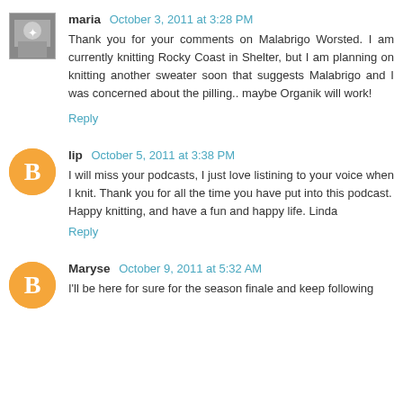maria  October 3, 2011 at 3:28 PM
Thank you for your comments on Malabrigo Worsted. I am currently knitting Rocky Coast in Shelter, but I am planning on knitting another sweater soon that suggests Malabrigo and I was concerned about the pilling.. maybe Organik will work!
Reply
lip  October 5, 2011 at 3:38 PM
I will miss your podcasts, I just love listining to your voice when I knit. Thank you for all the time you have put into this podcast.
Happy knitting, and have a fun and happy life. Linda
Reply
Maryse  October 9, 2011 at 5:32 AM
I'll be here for sure for the season finale and keep following